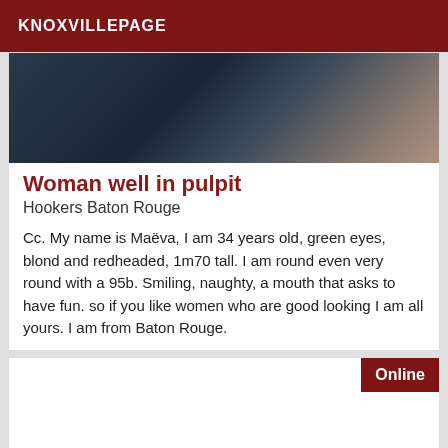KNOXVILLEPAGE
[Figure (photo): Close-up blurry photo of dark hair against a blurred beige/brown background]
Woman well in pulpit
Hookers Baton Rouge
Cc. My name is Maëva, I am 34 years old, green eyes, blond and redheaded, 1m70 tall. I am round even very round with a 95b. Smiling, naughty, a mouth that asks to have fun. so if you like women who are good looking I am all yours. I am from Baton Rouge.
Online